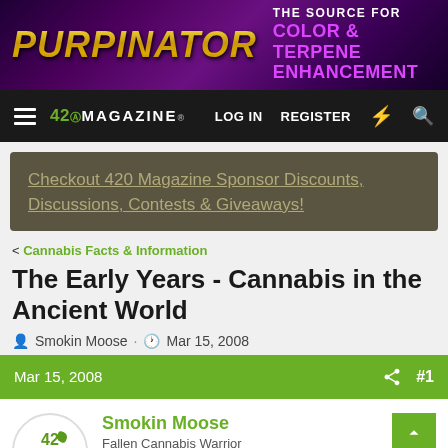[Figure (photo): Purpinator advertisement banner - purple/dark background with yellow metallic logo text 'PURPINATOR' and purple text 'THE SOURCE FOR COLOR & TERPENE ENHANCEMENT']
420MAGAZINE® | LOG IN | REGISTER
Checkout 420 Magazine Sponsor Discounts, Discussions, Contests & Giveaways!
< Cannabis Facts & Information
The Early Years - Cannabis in the Ancient World
Smokin Moose · Mar 15, 2008
Mar 15, 2008   #1
Smokin Moose
Fallen Cannabis Warrior
Millions of years ago, humanoid creatures descended fr…